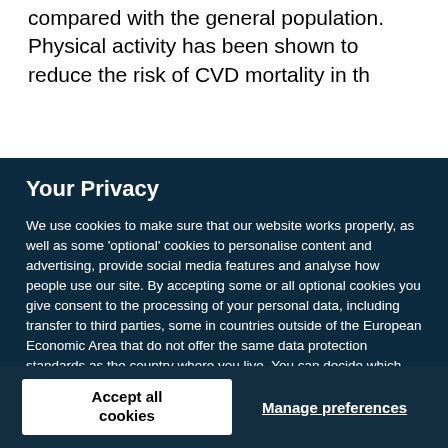compared with the general population. Physical activity has been shown to reduce the risk of CVD mortality in th
Your Privacy
We use cookies to make sure that our website works properly, as well as some 'optional' cookies to personalise content and advertising, provide social media features and analyse how people use our site. By accepting some or all optional cookies you give consent to the processing of your personal data, including transfer to third parties, some in countries outside of the European Economic Area that do not offer the same data protection standards as the country where you live. You can decide which optional cookies to accept by clicking on 'Manage Settings', where you can also find more information about how your personal data is processed. Further information can be found in our privacy policy.
Accept all cookies
Manage preferences